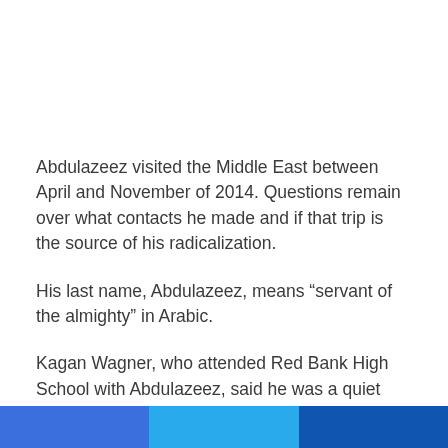Abdulazeez visited the Middle East between April and November of 2014. Questions remain over what contacts he made and if that trip is the source of his radicalization.
His last name, Abdulazeez, means “servant of the almighty” in Arabic.
Kagan Wagner, who attended Red Bank High School with Abdulazeez, said he was a quiet kid, but